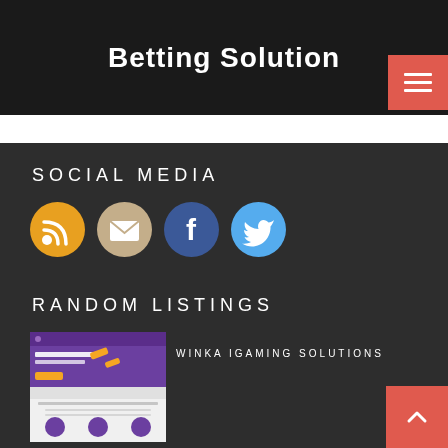Betting Solution
[Figure (screenshot): Dark banner with 'Betting Solution' title and hamburger menu button in salmon/red color]
SOCIAL MEDIA
[Figure (infographic): Four circular social media icons: RSS feed (orange), Email (tan/beige), Facebook (blue), Twitter (light blue)]
RANDOM LISTINGS
[Figure (screenshot): Screenshot of WINKA - Online iGaming Platform website with purple theme]
WINKA IGAMING SOLUTIONS